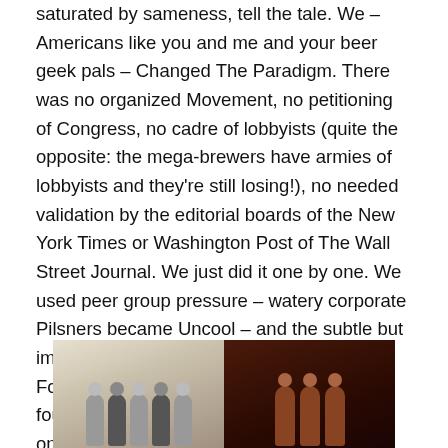saturated by sameness, tell the tale. We – Americans like you and me and your beer geek pals – Changed The Paradigm. There was no organized Movement, no petitioning of Congress, no cadre of lobbyists (quite the opposite: the mega-brewers have armies of lobbyists and they're still losing!), no needed validation by the editorial boards of the New York Times or Washington Post of The Wall Street Journal. We just did it one by one. We used peer group pressure – watery corporate Pilsners became Uncool – and the subtle but immensely powerful and totally irresistible Force of consumer demand to shake the foundations of what has traditionally been one of the most powerful and smugly confident manufacturing segments in America.
[Figure (photo): Two side-by-side photographs: left photo shows a group of people on a light background, right photo shows a group of people in a dark/dimly lit setting.]